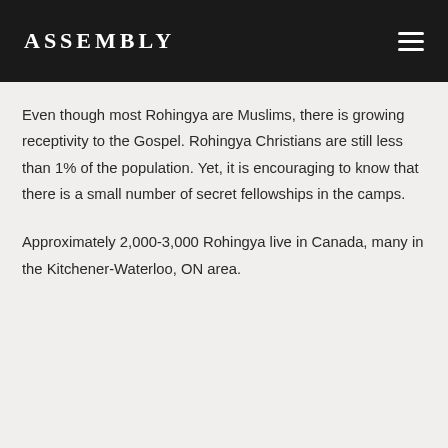ASSEMBLY
Even though most Rohingya are Muslims, there is growing receptivity to the Gospel. Rohingya Christians are still less than 1% of the population. Yet, it is encouraging to know that there is a small number of secret fellowships in the camps.
Approximately 2,000-3,000 Rohingya live in Canada, many in the Kitchener-Waterloo, ON area.